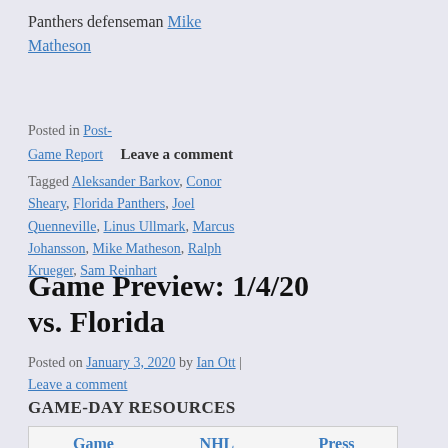Panthers defenseman Mike Matheson
Posted in Post-Game Report   Leave a comment
Tagged Aleksander Barkov, Conor Sheary, Florida Panthers, Joel Quenneville, Linus Ullmark, Marcus Johansson, Mike Matheson, Ralph Krueger, Sam Reinhart
Game Preview: 1/4/20 vs. Florida
Posted on January 3, 2020 by Ian Ott | Leave a comment
GAME-DAY RESOURCES
| Game | NHL | Press |
| --- | --- | --- |